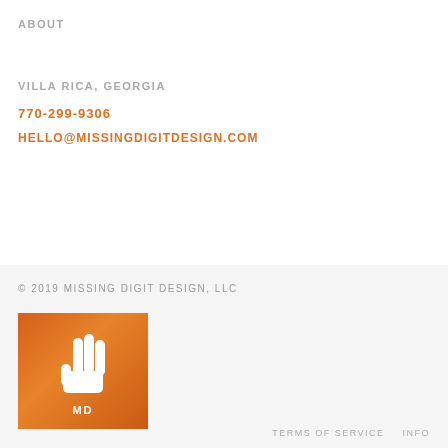ABOUT
VILLA RICA, GEORGIA
770-299-9306
HELLO@MISSINGDIGITDESIGN.COM
© 2019 MISSING DIGIT DESIGN, LLC
[Figure (logo): Missing Digit Design logo: orange/brown gradient square with a white hand silhouette showing three fingers raised, and 'MD' text below in white]
TERMS OF SERVICE    INFO